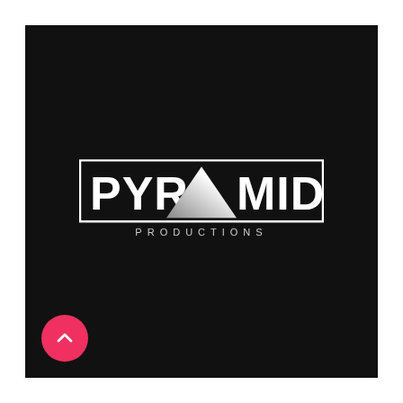[Figure (logo): Pyramid Productions logo: white rectangular border containing bold white letters PYR and MID with a white/silver triangle in the center replacing the letter A. Below the rectangle, the word PRODUCTIONS in spaced white capital letters on a black background.]